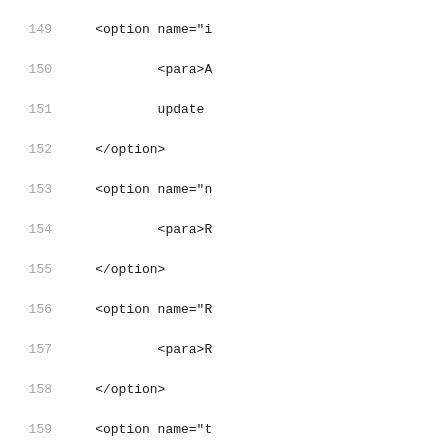Source code listing showing XML option elements, lines 149-181